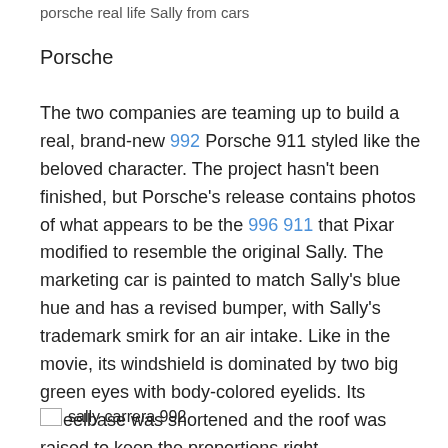porsche real life Sally from cars
Porsche
The two companies are teaming up to build a real, brand-new 992 Porsche 911 styled like the beloved character. The project hasn't been finished, but Porsche's release contains photos of what appears to be the 996 911 that Pixar modified to resemble the original Sally. The marketing car is painted to match Sally's blue hue and has a revised bumper, with Sally's trademark smirk for an air intake. Like in the movie, its windshield is dominated by two big green eyes with body-colored eyelids. Its wheelbase was shortened and the roof was raised to keep the proportions right.
[Figure (photo): sally carrera 992 image placeholder]